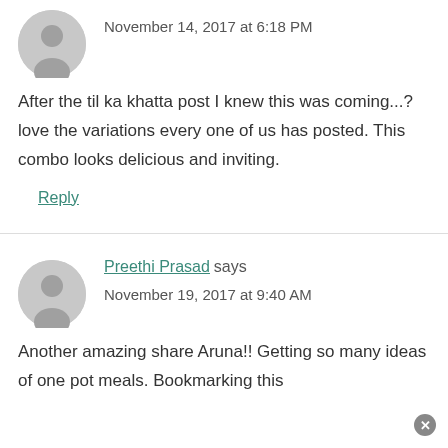November 14, 2017 at 6:18 PM
After the til ka khatta post I knew this was coming...?love the variations every one of us has posted. This combo looks delicious and inviting.
Reply
Preethi Prasad says
November 19, 2017 at 9:40 AM
Another amazing share Aruna!! Getting so many ideas of one pot meals. Bookmarking this